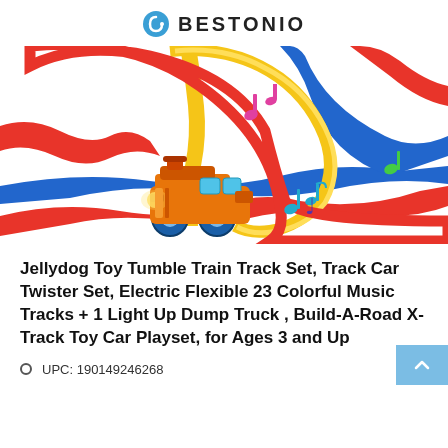BESTONIO
[Figure (photo): Colorful toy train track set with a yellow electric train on red, blue, and yellow looping tracks with musical notes depicted around it]
Jellydog Toy Tumble Train Track Set, Track Car Twister Set, Electric Flexible 23 Colorful Music Tracks + 1 Light Up Dump Truck , Build-A-Road X-Track Toy Car Playset, for Ages 3 and Up
UPC: 190149246268